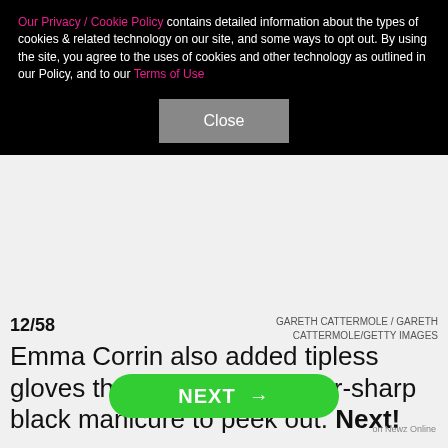Our Privacy / Cookie Policy contains detailed information about the types of cookies & related technology on our site, and some ways to opt out. By using the site, you agree to the uses of cookies and other technology as outlined in our Policy, and to our Terms of Use
Close
12/58
GARETH CATTERMOLE / GARETH CATTERMOLE/GETTY IMAGES
Emma Corrin also added tipless gloves that allowed her razor-sharp black manicure to peek out. Next!
[Figure (screenshot): SHE Media Partner Network advertisement banner with teal background showing logo and 'BECOME A MEMBER' button, with a photo strip of a woman wearing glasses below]
NEXT →
on Newz Online